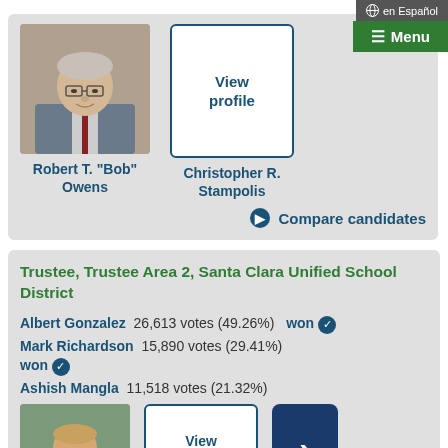en Español
≡ Menu
[Figure (photo): Headshot of Robert T. 'Bob' Owens, an older white man with glasses in a suit]
Robert T. "Bob" Owens
View profile
Christopher R. Stampolis
Compare candidates
Trustee, Trustee Area 2, Santa Clara Unified School District
Albert Gonzalez  26,613 votes (49.26%)   won
Mark Richardson  15,890 votes (29.41%)  won
Ashish Mangla  11,518 votes (21.32%)
[Figure (photo): Headshot of a man in a suit outdoors]
View profile